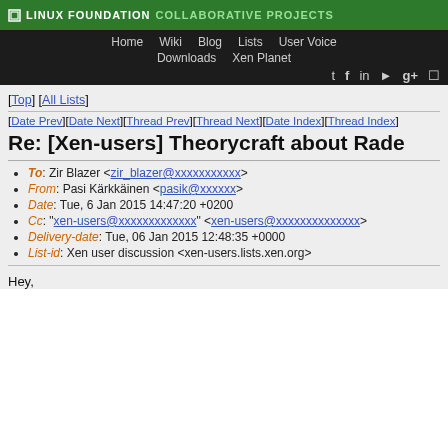LINUX FOUNDATION COLLABORATIVE PROJECTS
Home  Wiki  Blog  Lists  User Voice  Downloads  Xen Planet
[Top] [All Lists]
[Date Prev][Date Next][Thread Prev][Thread Next][Date Index][Thread Index]
Re: [Xen-users] Theorycraft about Rade...
To: Zir Blazer <zir_blazer@xxxxxxxxxxx>
From: Pasi Kärkkäinen <pasik@xxxxxx>
Date: Tue, 6 Jan 2015 14:47:20 +0200
Cc: "xen-users@xxxxxxxxxxxxx" <xen-users@xxxxxxxxxxxxxx>
Delivery-date: Tue, 06 Jan 2015 12:48:35 +0000
List-id: Xen user discussion <xen-users.lists.xen.org>
Hey,